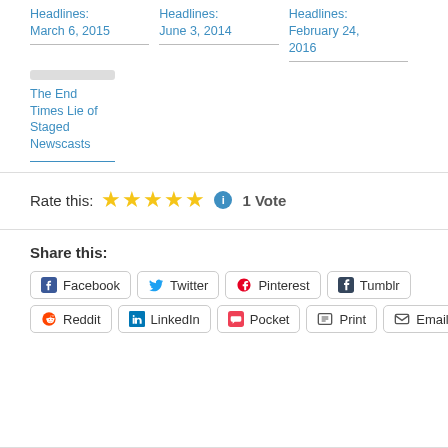Headlines: March 6, 2015
Headlines: June 3, 2014
Headlines: February 24, 2016
The End Times Lie of Staged Newscasts
Rate this: ★★★★★ ⓘ 1 Vote
Share this:
Facebook  Twitter  Pinterest  Tumblr  Reddit  LinkedIn  Pocket  Print  Email